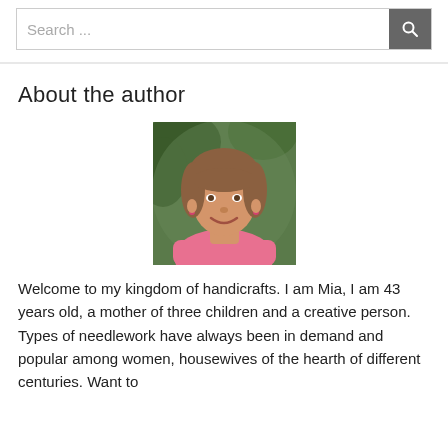Search ...
About the author
[Figure (photo): Portrait photo of a middle-aged woman with brown hair and bangs, smiling, wearing a pink top, with a blurred green background.]
Welcome to my kingdom of handicrafts. I am Mia, I am 43 years old, a mother of three children and a creative person. Types of needlework have always been in demand and popular among women, housewives of the hearth of different centuries. Want to